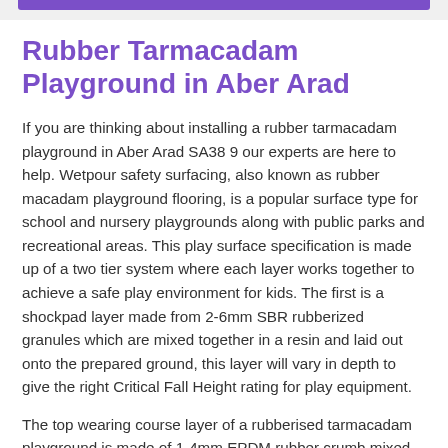[Figure (other): Purple decorative bar at the top of the page inside a light grey container]
Rubber Tarmacadam Playground in Aber Arad
If you are thinking about installing a rubber tarmacadam playground in Aber Arad SA38 9 our experts are here to help. Wetpour safety surfacing, also known as rubber macadam playground flooring, is a popular surface type for school and nursery playgrounds along with public parks and recreational areas. This play surface specification is made up of a two tier system where each layer works together to achieve a safe play environment for kids. The first is a shockpad layer made from 2-6mm SBR rubberized granules which are mixed together in a resin and laid out onto the prepared ground, this layer will vary in depth to give the right Critical Fall Height rating for play equipment.
The top wearing course layer of a rubberised tarmacadam playground is made of 1-4mm EPDM rubber crumb mixed with a polyurethane resin and laid on top of the base shockpad layer. You